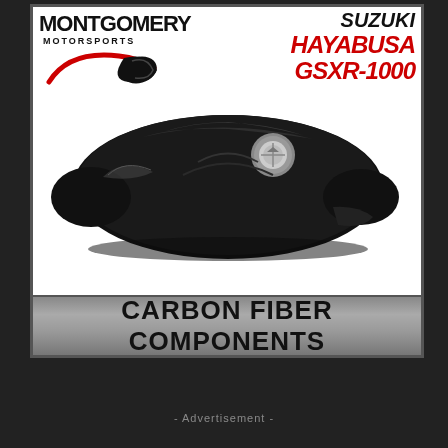[Figure (advertisement): Montgomery Motorsports advertisement for Suzuki Hayabusa GSXR-1000 Carbon Fiber Components. Features the Montgomery Motorsports logo with swoosh graphic on the left, 'SUZUKI HAYABUSA GSXR-1000' text in black and red on the upper right, a carbon fiber motorcycle gas tank component in the center, and a gray banner at the bottom reading 'CARBON FIBER COMPONENTS'.]
- Advertisement -